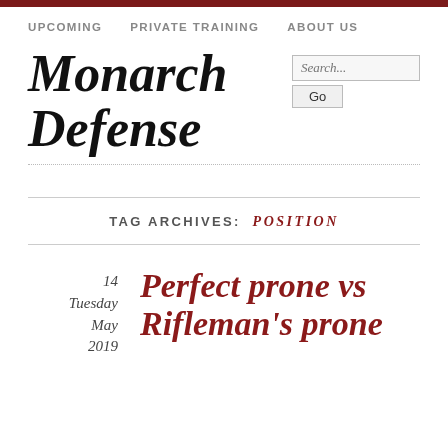UPCOMING   PRIVATE TRAINING   ABOUT US
Monarch Defense
TAG ARCHIVES: POSITION
14 Tuesday May 2019
Perfect prone vs Rifleman's prone